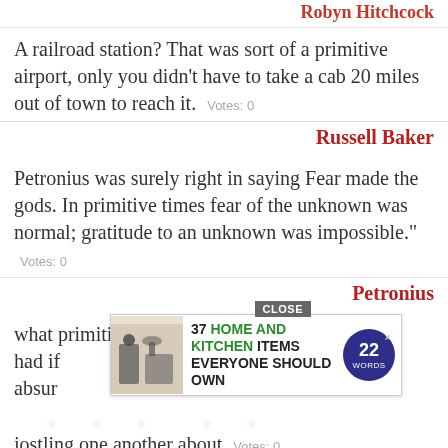Robyn Hitchcock
A railroad station? That was sort of a primitive airport, only you didn't have to take a cab 20 miles out of town to reach it.  Votes: 0
Russell Baker
Petronius was surely right in saying Fear made the gods. In primitive times fear of the unknown was normal; gratitude to an unknown was impossible."  Votes: 0
Petronius
what primitive tastes the ancients must have had if [AD OVERLAY] absur... jostling one another about  Votes: 0
[Figure (infographic): Advertisement overlay showing '37 HOME AND KITCHEN ITEMS EVERYONE SHOULD OWN' with a CLOSE button, an image of kitchen items, and a '22 WORDS' badge]